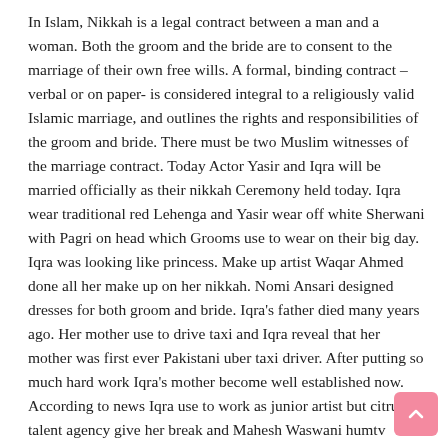In Islam, Nikkah is a legal contract between a man and a woman. Both the groom and the bride are to consent to the marriage of their own free wills. A formal, binding contract – verbal or on paper- is considered integral to a religiously valid Islamic marriage, and outlines the rights and responsibilities of the groom and bride. There must be two Muslim witnesses of the marriage contract. Today Actor Yasir and Iqra will be married officially as their nikkah Ceremony held today. Iqra wear traditional red Lehenga and Yasir wear off white Sherwani with Pagri on head which Grooms use to wear on their big day. Iqra was looking like princess. Make up artist Waqar Ahmed done all her make up on her nikkah. Nomi Ansari designed dresses for both groom and bride. Iqra's father died many years ago. Her mother use to drive taxi and Iqra reveal that her mother was first ever Pakistani uber taxi driver. After putting so much hard work Iqra's mother become well established now. According to news Iqra use to work as junior artist but citrus talent agency give her break and Mahesh Waswani humtv producer cast her in drama serial Mol along with Naveen and Faysal Qureshi. After that serial Iqra played different roles in dramas like she played widow's role in a drama then here